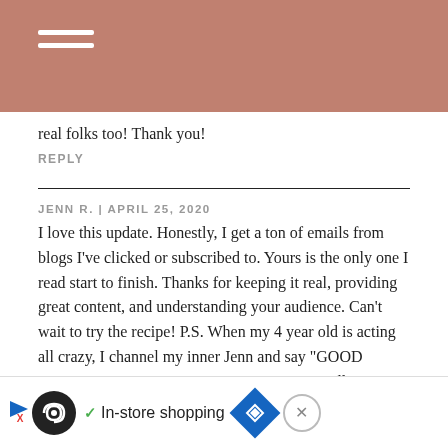[Figure (other): Mauve/rose colored header bar with white hamburger menu icon (three horizontal lines)]
real folks too! Thank you!
REPLY
JENN R. | APRIL 25, 2020
I love this update. Honestly, I get a ton of emails from blogs I've clicked or subscribed to. Yours is the only one I read start to finish. Thanks for keeping it real, providing great content, and understanding your audience. Can't wait to try the recipe! P.S. When my 4 year old is acting all crazy, I channel my inner Jenn and say "GOOD MORNING GOOD MORRRRRRNIIIIING" all crazy and she starts laughing every time! :)
REPLY
[Figure (other): Advertisement bar at bottom: play button, circular logo with infinity-like symbol, checkmark with 'In-store shopping' text, blue diamond road sign icon, and X close button]